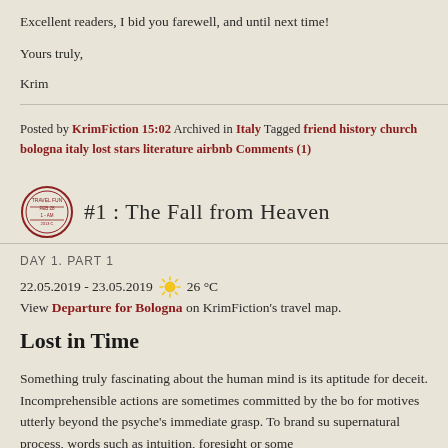Excellent readers, I bid you farewell, and until next time!
Yours truly,
Krim
Posted by KrimFiction 15:02 Archived in Italy Tagged friend history church bologna italy lost stars literature airbnb Comments (1)
#1 : The Fall from Heaven
DAY 1. PART 1
22.05.2019 - 23.05.2019  26 °C
View Departure for Bologna on KrimFiction's travel map.
Lost in Time
Something truly fascinating about the human mind is its aptitude for deceit. Incomprehensible actions are sometimes committed by the bo for motives utterly beyond the psyche's immediate grasp. To brand su supernatural process, words such as intuition, foresight or some